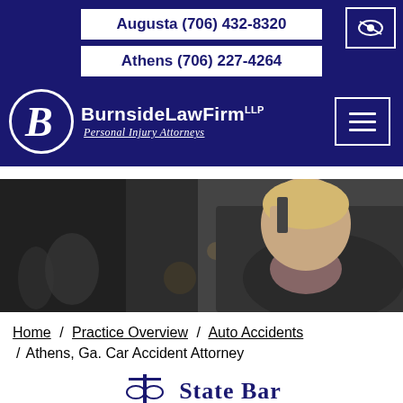Augusta (706) 432-8320 | Athens (706) 227-4264
[Figure (logo): Burnside Law Firm LLP logo — white B in circle with firm name and tagline 'Personal Injury Attorneys']
[Figure (photo): Woman at car accident scene holding phone to her head, dark moody photo]
Home / Practice Overview / Auto Accidents / Athens, Ga. Car Accident Attorney
State Bar